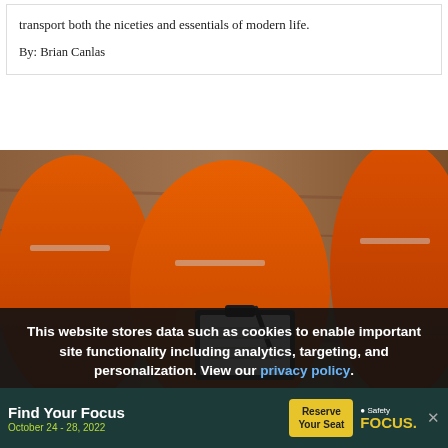transport both the niceties and essentials of modern life.
By: Brian Canlas
[Figure (photo): Two people wearing orange safety/work suits. One person is writing on a clipboard. Wooden background visible.]
This website stores data such as cookies to enable important site functionality including analytics, targeting, and personalization. View our privacy policy.
ENVIRONMENT
Find Your Focus
October 24 - 28, 2022
Reserve Your Seat
Safety FOCUS.